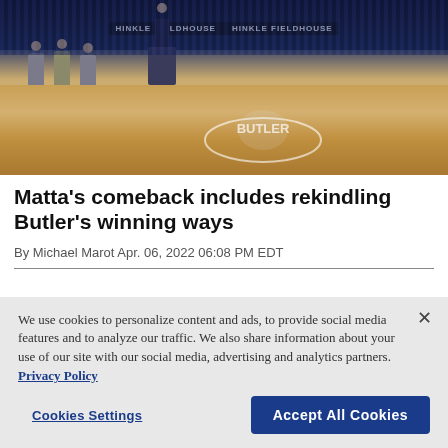[Figure (photo): Indoor basketball arena (Hinkle Fieldhouse) with people on a stage/podium at court level, hardwood floor with Butler Bulldogs logo visible, seats in background, scoreboard banner reading 'HINKLE FIELDHOUSE']
Matta's comeback includes rekindling Butler's winning ways
By Michael Marot Apr. 06, 2022 06:08 PM EDT
We use cookies to personalize content and ads, to provide social media features and to analyze our traffic. We also share information about your use of our site with our social media, advertising and analytics partners. Privacy Policy
Cookies Settings
Accept All Cookies